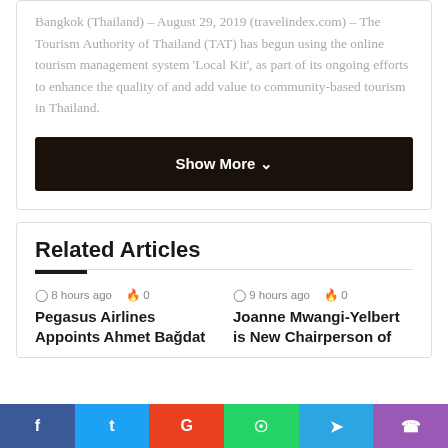Bangkok (Thailand) – August 29, 2019 (travelindex.com) – The Tourism Authority of Thailand (TAT) has begun using the online tourism management system 'Local Kit', as part of its ongoing efforts to enhance the quality of and add value to community-based tourism in Thailand.
Show More ∨
Related Articles
8 hours ago  0
Pegasus Airlines Appoints Ahmet Bağdat
9 hours ago  0
Joanne Mwangi-Yelbert is New Chairperson of